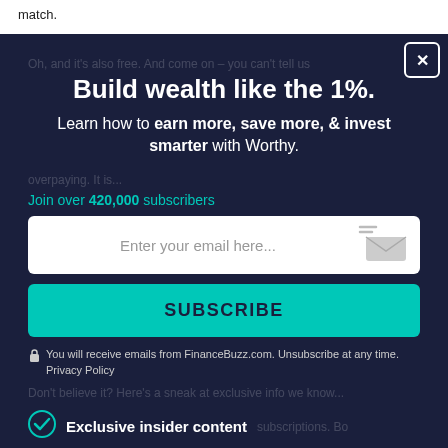match.
Build wealth like the 1%.
Learn how to earn more, save more, & invest smarter with Worthy.
Join over 420,000 subscribers
[Figure (screenshot): Email input field with placeholder text 'Enter your email here...' and an envelope icon on the right]
SUBSCRIBE
You will receive emails from FinanceBuzz.com. Unsubscribe at any time. Privacy Policy
Exclusive insider content